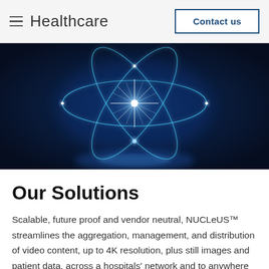Healthcare   Contact us
[Figure (illustration): Dark navy blue background with a glowing cyan atom/nucleus graphic featuring orbital rings and star-burst light effects at center and orbital nodes]
Our Solutions
Scalable, future proof and vendor neutral, NUCLeUS™ streamlines the aggregation, management, and distribution of video content, up to 4K resolution, plus still images and patient data, across a hospitals' network and to anywhere in the world. Read on to see